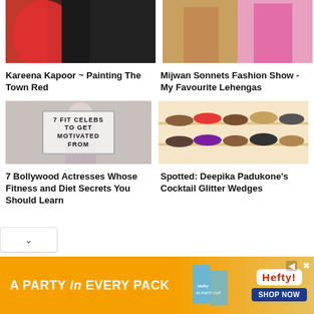[Figure (photo): Woman in red draped outfit with person in black]
[Figure (photo): Models in pink and orange lehengas on runway]
Kareena Kapoor ~ Painting The Town Red
Mijwan Sonnets Fashion Show - My Favourite Lehengas
[Figure (photo): Image with overlay text: 7 FIT CELEBS TO GET MOTIVATED FROM]
[Figure (photo): Shelves with various shoes including red wedges]
7 Bollywood Actresses Whose Fitness and Diet Secrets You Should Learn
Spotted: Deepika Padukone's Cocktail Glitter Wedges
[Figure (photo): Hefty advertisement banner: A PARTY in EVERY PACK]